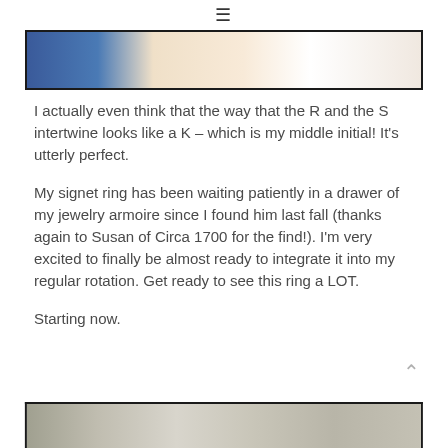≡
[Figure (photo): Close-up photo of a signet ring against a blue and cream/white background]
I actually even think that the way that the R and the S intertwine looks like a K – which is my middle initial! It's utterly perfect.
My signet ring has been waiting patiently in a drawer of my jewelry armoire since I found him last fall (thanks again to Susan of Circa 1700 for the find!). I'm very excited to finally be almost ready to integrate it into my regular rotation. Get ready to see this ring a LOT.
Starting now.
[Figure (photo): Photo of a signet ring against a light/silver background, partially visible at page bottom]